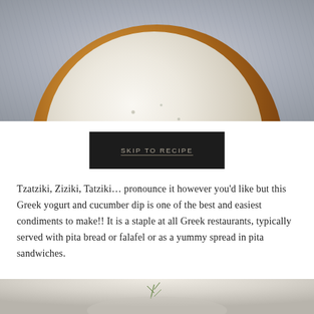[Figure (photo): Overhead/close-up photo of a wooden bowl filled with white tzatziki dip on a striped grey fabric/linen background]
SKIP TO RECIPE
Tzatziki, Ziziki, Tatziki... pronounce it however you'd like but this Greek yogurt and cucumber dip is one of the best and easiest condiments to make!! It is a staple at all Greek restaurants, typically served with pita bread or falafel or as a yummy spread in pita sandwiches.
[Figure (photo): Bottom portion of a food photo showing tzatziki dip with a herb garnish, partially visible at the bottom of the page]